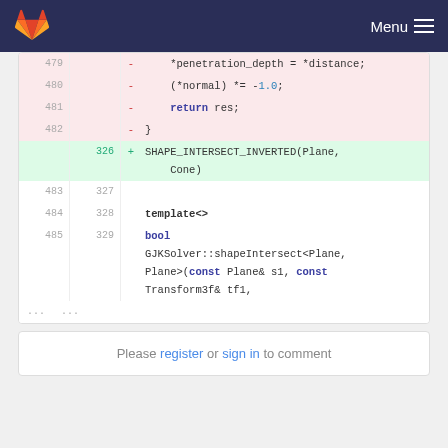GitLab — Menu
[Figure (screenshot): Code diff view showing removed lines 479-482 (penetration_depth, normal, return, closing brace) in red background, added line 326 with SHAPE_INTERSECT_INVERTED(Plane, Cone) in green background, and neutral lines 483-485 / 327-329 with template<>, bool, GJKSolver::shapeIntersect<Plane, Plane>(const Plane& s1, const Transform3f& tf1,]
Please register or sign in to comment